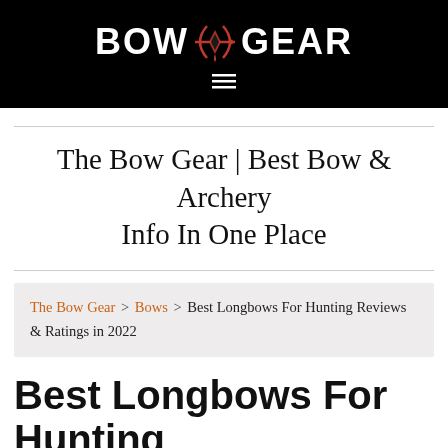BOW GEAR
The Bow Gear | Best Bow & Archery Info In One Place
The Bow Gear > Bows > Best Longbows For Hunting Reviews & Ratings in 2022
Best Longbows For Hunting